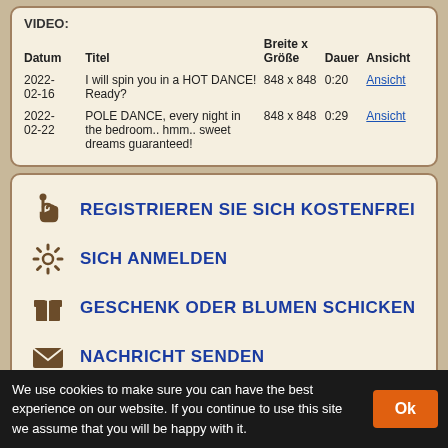VIDEO:
| Datum | Titel | Breite x Größe | Dauer | Ansicht |
| --- | --- | --- | --- | --- |
| 2022-02-16 | I will spin you in a HOT DANCE! Ready? | 848 x 848 | 0:20 | Ansicht |
| 2022-02-22 | POLE DANCE, every night in the bedroom.. hmm.. sweet dreams guaranteed! | 848 x 848 | 0:29 | Ansicht |
REGISTRIEREN SIE SICH KOSTENFREI
SICH ANMELDEN
GESCHENK ODER BLUMEN SCHICKEN
NACHRICHT SENDEN
EIN LÄCHELN SCHICKEN
E-MAIL AN FREUNDE
We use cookies to make sure you can have the best experience on our website. If you continue to use this site we assume that you will be happy with it.